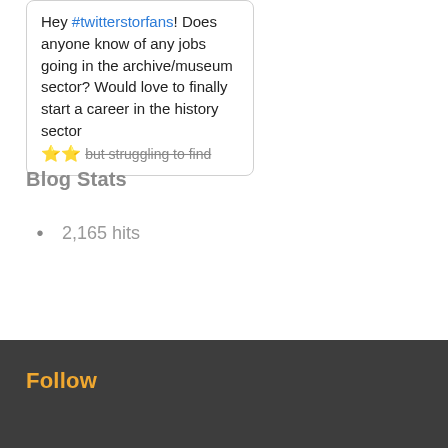Hey #twitterstorfans! Does anyone know of any jobs going in the archive/museum sector? Would love to finally start a career in the history sector ⭐⭐ but struggling to find
Blog Stats
2,165 hits
Follow